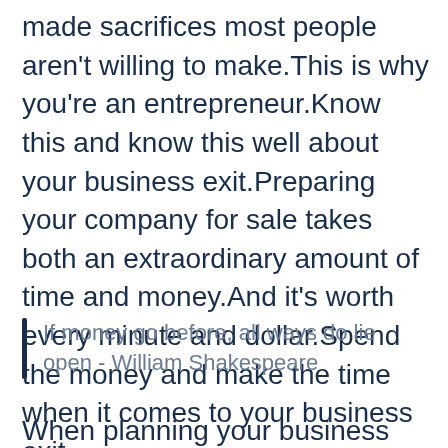made sacrifices most people aren't willing to make.This is why you're an entrepreneur.Know this and know this well about your business exit.Preparing your company for sale takes both an extraordinary amount of time and money.And it's worth every minute and dollar.Spend the money and make the time when it comes to your business exit.
If money go before, all ways do lie open - William Shakespeare
When planning your business exit, accept the fact